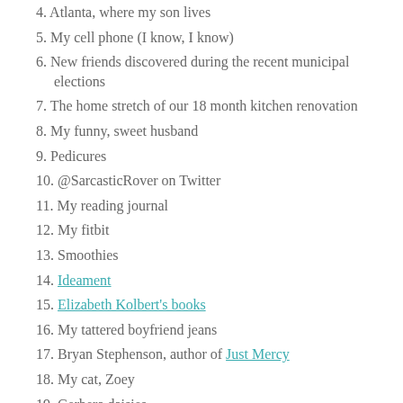4. Atlanta, where my son lives
5. My cell phone (I know, I know)
6. New friends discovered during the recent municipal elections
7. The home stretch of our 18 month kitchen renovation
8. My funny, sweet husband
9. Pedicures
10. @SarcasticRover on Twitter
11. My reading journal
12. My fitbit
13. Smoothies
14. Ideament
15. Elizabeth Kolbert's books
16. My tattered boyfriend jeans
17. Bryan Stephenson, author of Just Mercy
18. My cat, Zoey
19. Gerbera daisies
20. Fantasy house hunting on Zillow